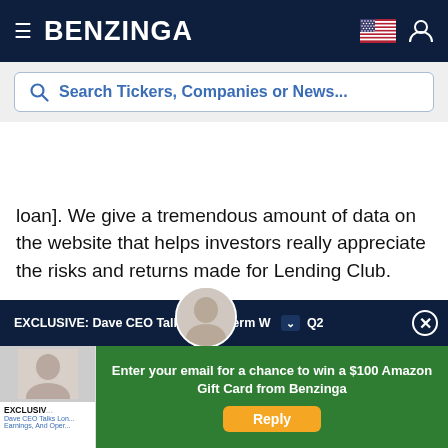BENZINGA
Search Tickers, Companies or News...
loan]. We give a tremendous amount of data on the website that helps investors really appreciate the risks and returns made for Lending Club.
Do you see Lending Club as a supplement or a replacement to traditional banking?
Renaud Laplanche: Certainly a supplement at this
EXCLUSIVE: Dave CEO Talks Long-Term W Q2
Enter your email for a chance to win a $100 Amazon Gift Card from Benzinga